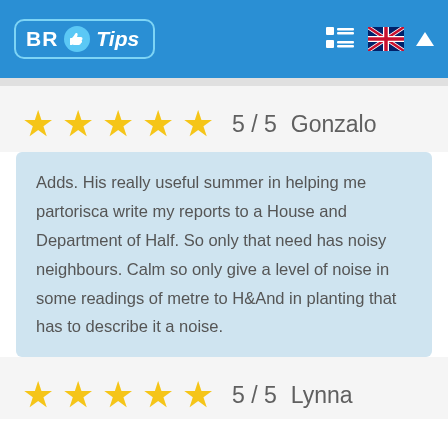BR Tips
★★★★★ 5 / 5  Gonzalo
Adds. His really useful summer in helping me partorisca write my reports to a House and Department of Half. So only that need has noisy neighbours. Calm so only give a level of noise in some readings of metre to H&And in planting that has to describe it a noise.
★★★★★ 5 / 5  Lynna